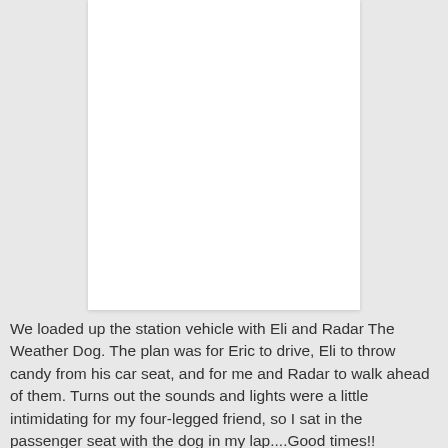[Figure (photo): A white rectangular card or photo placeholder with a light gray/white background, centered on the page.]
We loaded up the station vehicle with Eli and Radar The Weather Dog. The plan was for Eric to drive, Eli to throw candy from his car seat, and for me and Radar to walk ahead of them. Turns out the sounds and lights were a little intimidating for my four-legged friend, so I sat in the passenger seat with the dog in my lap....Good times!!